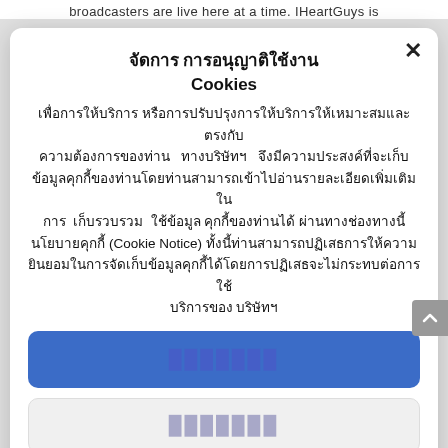broadcasters are live here at a time. IHeartGuys is
จัดการ การอนุญาติใช้งาน Cookies
เพื่อการให้บริการ หรือการปรับปรุงการให้บริการให้เหมาะสมและตรงกับความต้องการของท่าน ทางบริษัทฯ จึงมีความประสงค์ที่จะเก็บข้อมูลคุกกี้ของท่านโดยท่านสามารถเข้าไปอ่านรายละเอียดเพิ่มเติมในการ เก็บรวบรวม ใช้ข้อมูล คุกกี้ของท่านได้ ผ่านทางช่องทางนี้ นโยบายคุกกี้ (Cookie Notice) ทั้งนี้ท่านสามารถปฏิเสธการให้ความยินยอมในการจัดเก็บข้อมูลคุกกี้ได้โดยการปฏิเสธจะไม่กระทบต่อการใช้บริการของ บริษัทฯ
[Figure (other): Blue accept button with obscured Thai text]
[Figure (other): White decline button with obscured Thai text]
[Figure (other): White manage cookies button with obscured Thai text]
นโยบายการใช้คุกกี้ของบริษัท นโยบายการคุ้มครองข้อมูลส่วนบุคคล